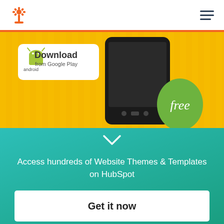HubSpot
[Figure (screenshot): Android app banner showing a smartphone with a green 'free' badge and 'Download from Google Play' button on a yellow background]
Purple: Imaginative, creative, nostalgic
Kaleidoscope's purple color scheme helps
Access hundreds of Website Themes & Templates on HubSpot
Get it now